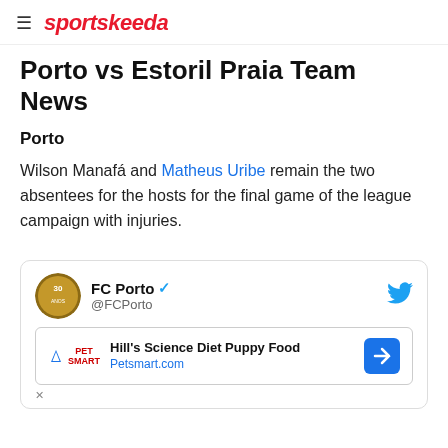sportskeeda
Porto vs Estoril Praia Team News
Porto
Wilson Manafá and Matheus Uribe remain the two absentees for the hosts for the final game of the league campaign with injuries.
[Figure (screenshot): Embedded tweet card from FC Porto (@FCPorto) with verified badge and Twitter bird icon, followed by a PetSmart Hill's Science Diet Puppy Food advertisement banner.]